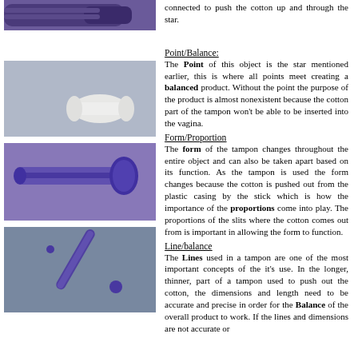[Figure (photo): Photo of a dark blue/purple tampon applicator top portion, cropped at top of page]
connected to push the cotton up and through the star.
[Figure (photo): Photo showing a white cotton tampon piece on a gray-blue background]
Point/Balance:
The Point of this object is the star mentioned earlier, this is where all points meet creating a balanced product. Without the point the purpose of the product is almost nonexistent because the cotton part of the tampon won't be able to be inserted into the vagina.
Form/Proportion
The form of the tampon changes throughout the entire object and can also be taken apart based on its function. As the tampon is used the form changes because the cotton is pushed out from the plastic casing by the stick which is how the importance of the proportions come into play. The proportions of the slits where the cotton comes out from is important in allowing the form to function.
[Figure (photo): Photo of a dark purple/blue tampon applicator full view on gray background]
Line/balance
The Lines used in a tampon are one of the most important concepts of the it's use. In the longer, thinner, part of a tampon used to push out the cotton, the dimensions and length need to be accurate and precise in order for the Balance of the overall product to work. If the lines and dimensions are not accurate or
[Figure (photo): Photo of a dark purple/blue thin tampon stick/applicator rod on blue-gray background]